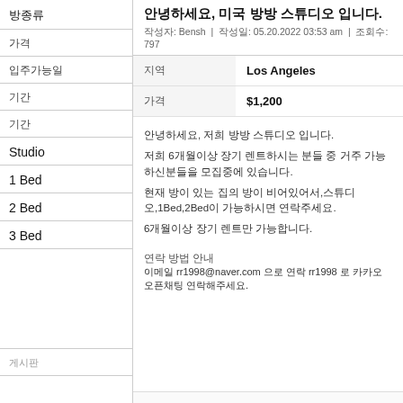안녕하세요, 미국 방방 스튜디오 입니다.
작성자: Bensh | 작성일: 05.20.2022 03:53 am | 조회수: 797
| 항목 | 내용 |
| --- | --- |
| 지역 | Los Angeles |
| 가격 | $1,200 |
안녕하세요, 저희 방방 스튜디오 입니다.
저희 6개월이상 장기 렌트하시는 분들 중 거주 가능하신분들을 모집중에 있습니다.
현재 방이 있는 집의 방이 비어있어서,스튜디오,1Bed,2Bed이 가능하시면 연락주세요.
6개월이상 장기 렌트만 가능합니다.
연락 방법 안내
이메일 rr1998@naver.com 으로 연락 rr1998 로 카카오 오픈채팅 연락해주세요.
방종류
가격
입주가능일
기간
Studio
1 Bed
2 Bed
3 Bed
게시판